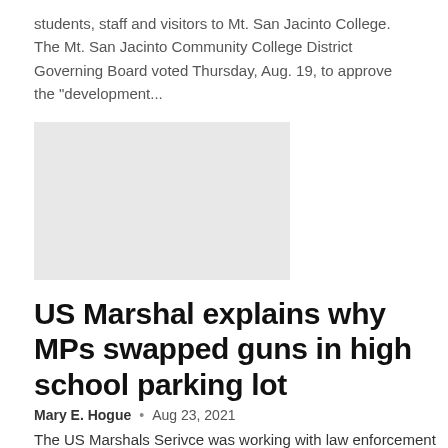students, staff and visitors to Mt. San Jacinto College. The Mt. San Jacinto Community College District Governing Board voted Thursday, Aug. 19, to approve the "development...
[Figure (photo): Gray placeholder image block]
US Marshal explains why MPs swapped guns in high school parking lot
Mary E. Hogue  •  Aug 23, 2021
The US Marshals Serivce was working with law enforcement in the region to discover that a wanted criminal had shot police earlier